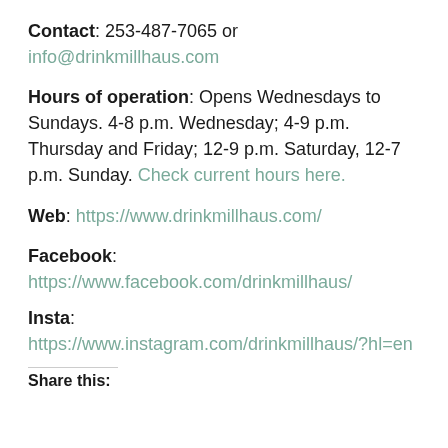Contact: 253-487-7065 or info@drinkmillhaus.com
Hours of operation: Opens Wednesdays to Sundays. 4-8 p.m. Wednesday; 4-9 p.m. Thursday and Friday; 12-9 p.m. Saturday, 12-7 p.m. Sunday. Check current hours here.
Web: https://www.drinkmillhaus.com/
Facebook: https://www.facebook.com/drinkmillhaus/
Insta: https://www.instagram.com/drinkmillhaus/?hl=en
Share this: